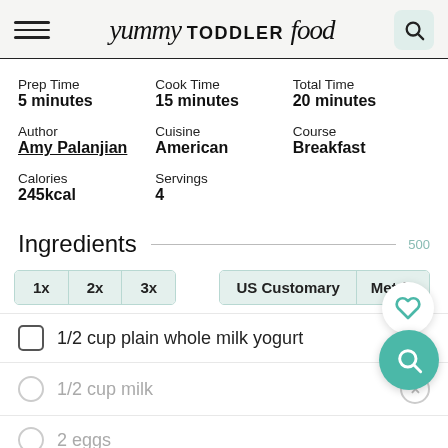yummy TODDLER food
| Field | Value |
| --- | --- |
| Prep Time | 5 minutes |
| Cook Time | 15 minutes |
| Total Time | 20 minutes |
| Author | Amy Palanjian |
| Cuisine | American |
| Course | Breakfast |
| Calories | 245kcal |
| Servings | 4 |
Ingredients
1x  2x  3x   US Customary  Metric
1/2 cup plain whole milk yogurt
1/2 cup milk
2 eggs